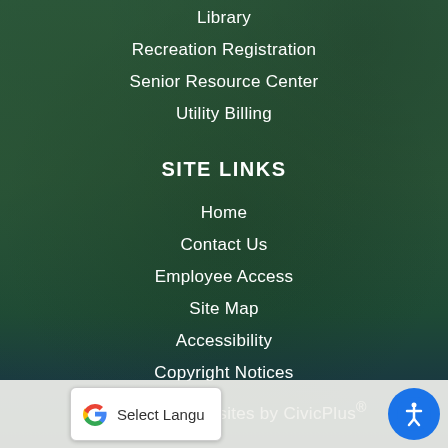Library
Recreation Registration
Senior Resource Center
Utility Billing
SITE LINKS
Home
Contact Us
Employee Access
Site Map
Accessibility
Copyright Notices
Government Websites by CivicPlus®
Select Language | Accessibility